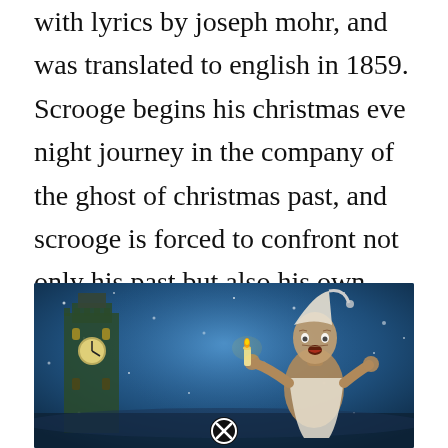with lyrics by joseph mohr, and was translated to english in 1859. Scrooge begins his christmas eve night journey in the company of the ghost of christmas past, and scrooge is forced to confront not only his past but also his own inner demons. Guy pearce, andy serkis, stephen graham. 4.4 out of 5 stars.
[Figure (illustration): A dark, wintry fantasy illustration showing a frightened elderly man (Scrooge) in a nightcap running or recoiling against a snowy blue background, with gothic architecture including what appears to be Big Ben or a clock tower visible on the left side. A circular close/X button overlay appears at the bottom center of the image.]